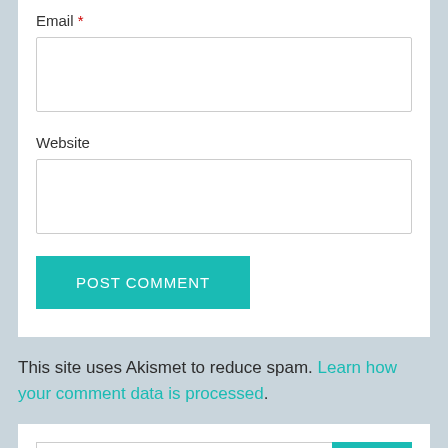Email *
Website
POST COMMENT
This site uses Akismet to reduce spam. Learn how your comment data is processed.
Search ...